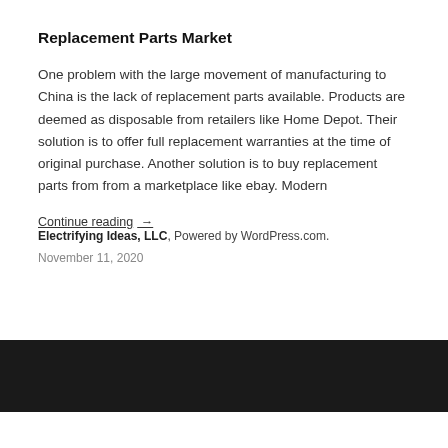Replacement Parts Market
One problem with the large movement of manufacturing to China is the lack of replacement parts available. Products are deemed as disposable from retailers like Home Depot. Their solution is to offer full replacement warranties at the time of original purchase. Another solution is to buy replacement parts from from a marketplace like ebay. Modern
Continue reading →
November 11, 2020
Electrifying Ideas, LLC, Powered by WordPress.com.